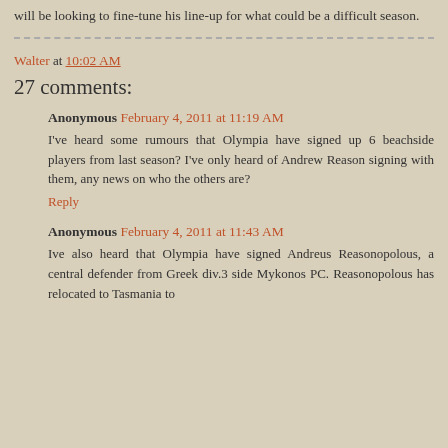will be looking to fine-tune his line-up for what could be a difficult season.
Walter at 10:02 AM
27 comments:
Anonymous February 4, 2011 at 11:19 AM
I've heard some rumours that Olympia have signed up 6 beachside players from last season? I've only heard of Andrew Reason signing with them, any news on who the others are?
Reply
Anonymous February 4, 2011 at 11:43 AM
Ive also heard that Olympia have signed Andreus Reasonopolous, a central defender from Greek div.3 side Mykonos PC. Reasonopolous has relocated to Tasmania to